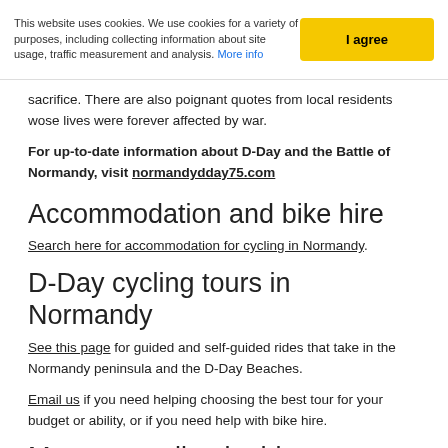This website uses cookies. We use cookies for a variety of purposes, including collecting information about site usage, traffic measurement and analysis. More info
I agree
sacrifice. There are also poignant quotes from local residents wose lives were forever affected by war.
For up-to-date information about D-Day and the Battle of Normandy, visit normandydday75.com
Accommodation and bike hire
Search here for accommodation for cycling in Normandy.
D-Day cycling tours in Normandy
See this page for guided and self-guided rides that take in the Normandy peninsula and the D-Day Beaches.
Email us if you need helping choosing the best tour for your budget or ability, or if you need help with bike hire.
More on cycling in this area